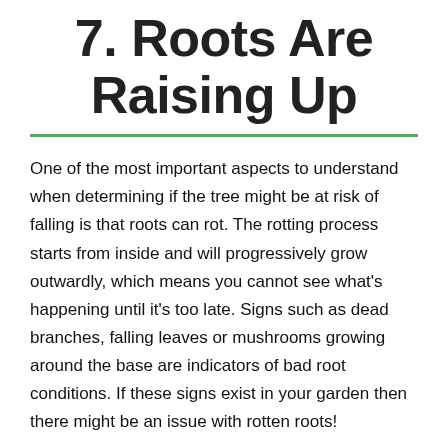7. Roots Are Raising Up
One of the most important aspects to understand when determining if the tree might be at risk of falling is that roots can rot. The rotting process starts from inside and will progressively grow outwardly, which means you cannot see what's happening until it's too late. Signs such as dead branches, falling leaves or mushrooms growing around the base are indicators of bad root conditions. If these signs exist in your garden then there might be an issue with rotten roots!